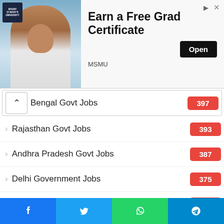[Figure (photo): Advertisement banner: Mount St. Mary's University logo, photo of a man in a white coat, headline 'Earn a Free Grad Certificate', MSMU sponsor text, and an Open button.]
Bengal Govt Jobs — 397
Rajasthan Govt Jobs — 393
Andhra Pradesh Govt Jobs — 387
Delhi Government Jobs — 375
Gujarat Govt Jobs — 370
Telangana Govt Jobs — 364
Haryana Govt Jobs — 364
Bihar Govt Jobs — 351
Jharkhand Govt Jobs — 350
Kerala Govt Jobs